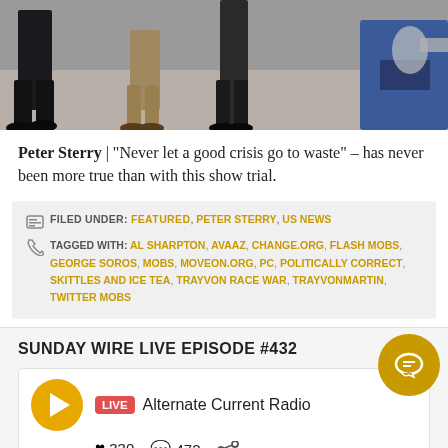[Figure (photo): Cropped photo showing legs and feet of people walking on a street, with dark trousers and casual shoes visible]
Peter Sterry | "Never let a good crisis go to waste" – has never been more true than with this show trial.
FILED UNDER: FEATURED, PETER STERRY, US NEWS
TAGGED WITH: AL SHARPTON, AVAAZ, CHANGE.ORG, FLASH MOBS, GEORGE SOROS, MOBS, MOVEON.ORG, PC, POLITICALLY CORRECT, SKITTLES AND ICE TEA, TRAYVON RACE WAR, TRAYVONMARTIN, TWITTER MOBS
SUNDAY WIRE LIVE EPISODE #432
LIVE  Alternate Current Radio
♥ 330  💬 472